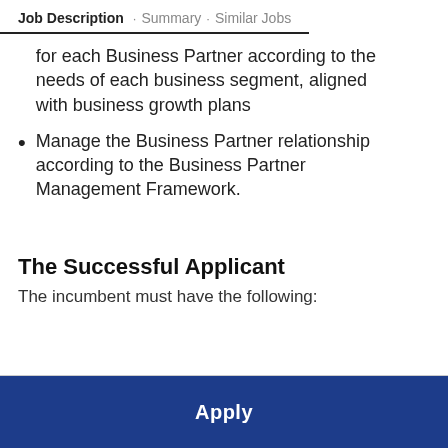Job Description · Summary · Similar Jobs
for each Business Partner according to the needs of each business segment, aligned with business growth plans
Manage the Business Partner relationship according to the Business Partner Management Framework.
The Successful Applicant
The incumbent must have the following: